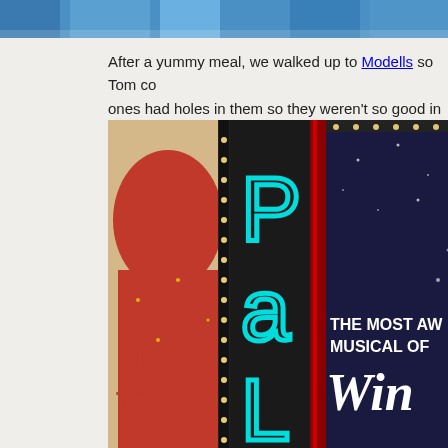[Figure (photo): Partial top banner image with blue and gray tones, cropped at top of page]
After a yummy meal, we walked up to Modells so Tom co ones had holes in them so they weren't so good in the ra
[Figure (photo): Photo of Broadway theater marquees at night showing the Palace Theatre neon sign spelling 'PAL' in cyan neon letters, a red glittery boot from Kinky Boots musical on the left, and a dark blue sign reading 'THE MOST AW MUSICAL OF Win' on the right]